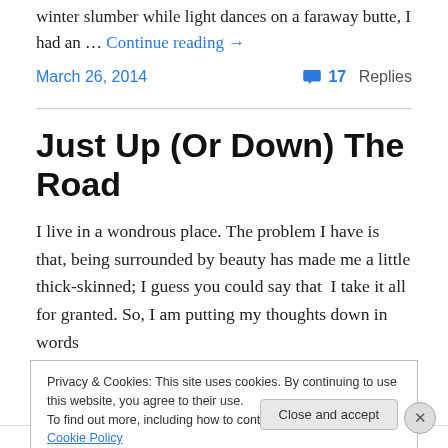winter slumber while light dances on a faraway butte, I had an … Continue reading →
March 26, 2014   💬 17 Replies
Just Up (Or Down) The Road
I live in a wondrous place. The problem I have is that, being surrounded by beauty has made me a little thick-skinned; I guess you could say that  I take it all for granted. So, I am putting my thoughts down in words
Privacy & Cookies: This site uses cookies. By continuing to use this website, you agree to their use. To find out more, including how to control cookies, see here: Cookie Policy
Close and accept
Advertisements